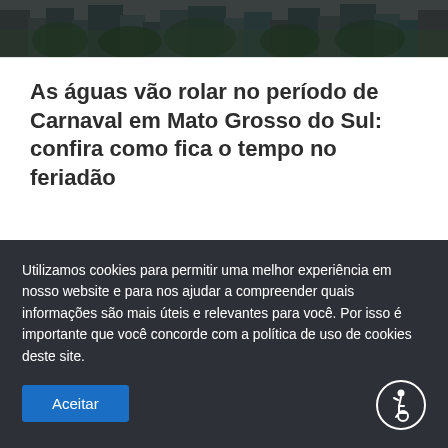[Figure (photo): Aerial or cityscape photograph showing urban buildings/skyline, dark toned, used as article header image.]
As águas vão rolar no período de Carnaval em Mato Grosso do Sul: confira como fica o tempo no feriadão
Feriadão na Capital ainda tem chances de chuva, que são quase nulas no Sul, conforme previsão do Cemtec As águas vão rolar neste período de Carnaval em Mato
Utilizamos cookies para permitir uma melhor experiência em nosso website e para nos ajudar a compreender quais informações são mais úteis e relevantes para você. Por isso é importante que você concorde com a política de uso de cookies deste site.
Aceitar